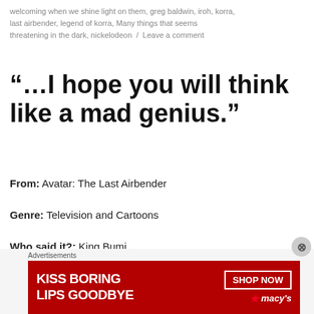welcoming when we shine light on them, greg baldwin, iroh, korra, last airbender, legend of korra, Many things that seems threatening in the dark, nickelodeon  /  Leave a comment
“…I hope you will think like a mad genius.”
From: Avatar: The Last Airbender
Genre: Television and Cartoons
Who said it?: King Bumi
[Figure (other): Advertisement banner for Macy's: red background with text 'KISS BORING LIPS GOODBYE', a SHOP NOW button, and the Macy's star logo]